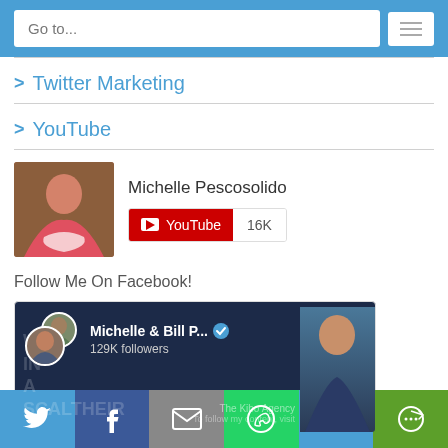Go to...
Twitter Marketing
YouTube
Michelle Pescosolido
[Figure (screenshot): YouTube subscribe badge showing 16K subscribers]
Follow Me On Facebook!
[Figure (screenshot): Facebook page card for Michelle & Bill P... with verified badge, 129K followers]
[Figure (infographic): Social share bar with Twitter, Facebook, Email, WhatsApp, SMS, and More buttons]